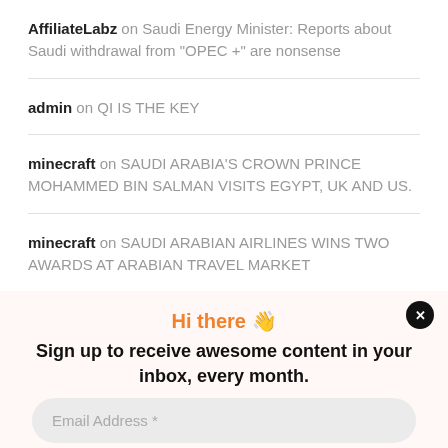AffiliateLabz on Saudi Energy Minister: Reports about Saudi withdrawal from “OPEC +” are nonsense
admin on QI IS THE KEY
minecraft on SAUDI ARABIA’S CROWN PRINCE MOHAMMED BIN SALMAN VISITS EGYPT, UK AND US.
minecraft on SAUDI ARABIAN AIRLINES WINS TWO AWARDS AT ARABIAN TRAVEL MARKET
Hi there 👋
Sign up to receive awesome content in your inbox, every month.
Email Address *